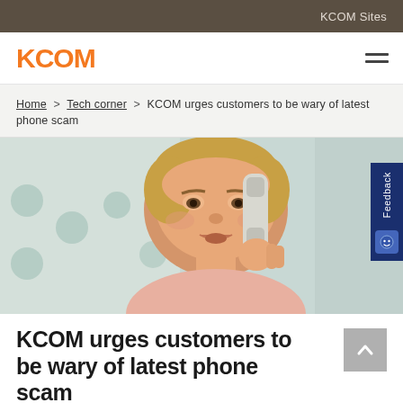KCOM Sites
KCOM
Home > Tech corner > KCOM urges customers to be wary of latest phone scam
[Figure (photo): Middle-aged woman with concerned expression holding a telephone handset to her ear, with a light blue dotted background. A dark navy 'Feedback' tab is visible on the right side.]
KCOM urges customers to be wary of latest phone scam